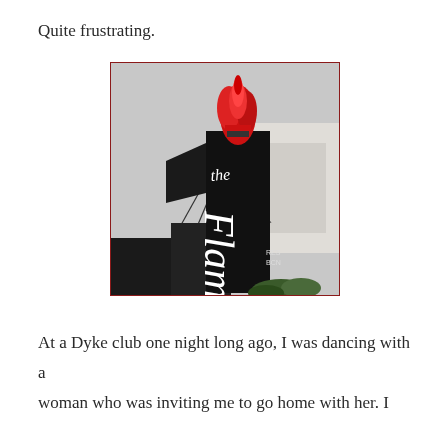Quite frustrating.
[Figure (photo): Photograph of 'The Flame' bar/club sign — a tall black vertical sign with white cursive lettering reading 'the Flame', topped with a red flame motif, with a building in the background.]
At a Dyke club one night long ago, I was dancing with a woman who was inviting me to go home with her. I